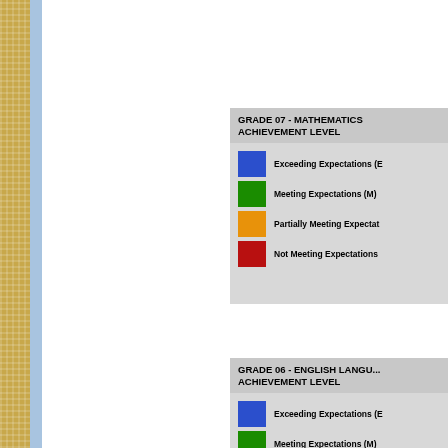[Figure (infographic): Left decorative border with gold dotted pattern and blue inner strip]
GRADE 07 - MATHEMATICS ACHIEVEMENT LEVEL
Exceeding Expectations (E)
Meeting Expectations (M)
Partially Meeting Expectations
Not Meeting Expectations
GRADE 06 - ENGLISH LANGUAGE ACHIEVEMENT LEVEL
Exceeding Expectations (E)
Meeting Expectations (M)